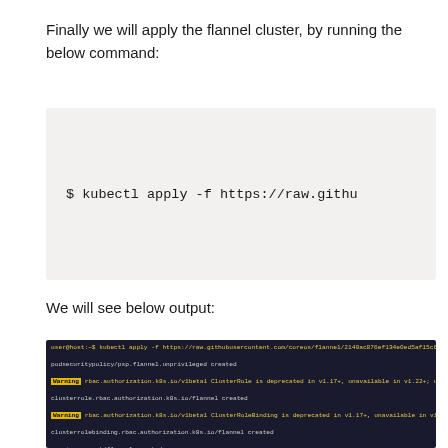Finally we will apply the flannel cluster, by running the below command:
[Figure (screenshot): Light grey code box showing terminal command: $ kubectl apply -f https://raw.githu]
We will see below output:
[Figure (screenshot): Dark terminal output showing kubectl apply command results with warnings about rbac.authorization.k8s.io ClusterRole deprecation and created resources including clusterrole, clusterrolebinding, serviceaccount, configmap, kube-flannel-cfg created]